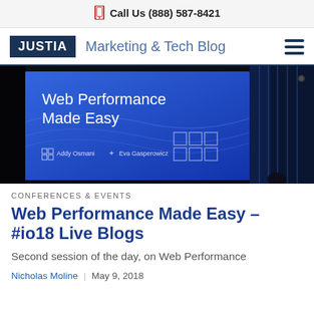Call Us (888) 587-8421
JUSTIA Marketing & Tech Blog
[Figure (photo): Conference stage with a large blue screen displaying 'Web Performance Made Easy' presentation slide, with names Addy Osmani and Eva Gasperowicz visible at the bottom.]
CONFERENCES & EVENTS
Web Performance Made Easy – #io18 Live Blogs
Second session of the day, on Web Performance
Nicholas Moline | May 9, 2018